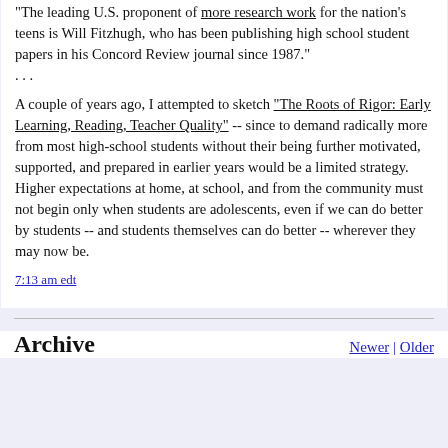"The leading U.S. proponent of more research work for the nation's teens is Will Fitzhugh, who has been publishing high school student papers in his Concord Review journal since 1987." . . .
A couple of years ago, I attempted to sketch "The Roots of Rigor: Early Learning, Reading, Teacher Quality" -- since to demand radically more from most high-school students without their being further motivated, supported, and prepared in earlier years would be a limited strategy. Higher expectations at home, at school, and from the community must not begin only when students are adolescents, even if we can do better by students -- and students themselves can do better -- wherever they may now be.
7:13 am edt
Archive
Newer | Older